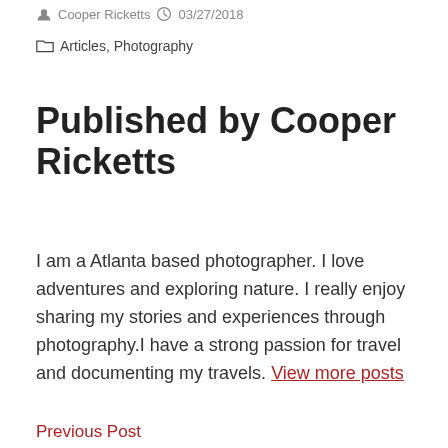Cooper Ricketts   03/27/2018
Articles, Photography
Published by Cooper Ricketts
I am a Atlanta based photographer. I love adventures and exploring nature. I really enjoy sharing my stories and experiences through photography.I have a strong passion for travel and documenting my travels. View more posts
Previous Post